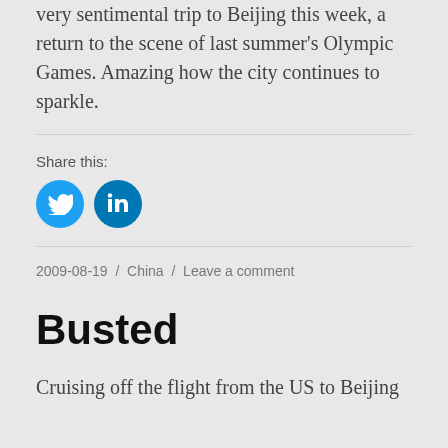very sentimental trip to Beijing this week, a return to the scene of last summer's Olympic Games. Amazing how the city continues to sparkle.
Share this:
[Figure (other): Twitter and LinkedIn social share icon buttons (blue circles with white icons)]
2009-08-19 / China / Leave a comment
Busted
Cruising off the flight from the US to Beijing